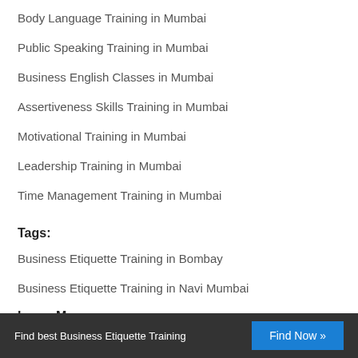Body Language Training in Mumbai
Public Speaking Training in Mumbai
Business English Classes in Mumbai
Assertiveness Skills Training in Mumbai
Motivational Training in Mumbai
Leadership Training in Mumbai
Time Management Training in Mumbai
Tags:
Business Etiquette Training in Bombay
Business Etiquette Training in Navi Mumbai
Learn More:
Find best Business Etiquette Training  Find Now »